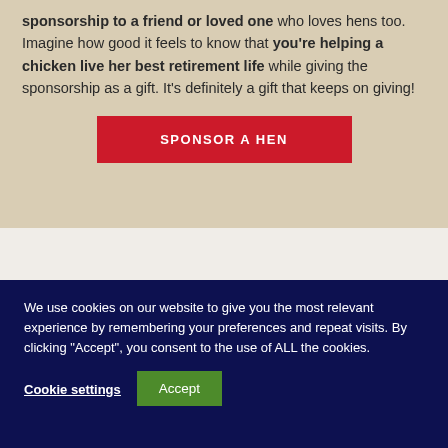sponsorship to a friend or loved one who loves hens too. Imagine how good it feels to know that you're helping a chicken live her best retirement life while giving the sponsorship as a gift. It's definitely a gift that keeps on giving!
[Figure (other): Red button labeled SPONSOR A HEN]
We use cookies on our website to give you the most relevant experience by remembering your preferences and repeat visits. By clicking "Accept", you consent to the use of ALL the cookies.
Cookie settings
Accept